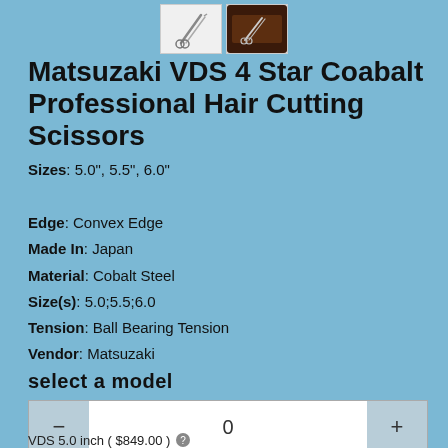[Figure (photo): Two small product thumbnail images of scissors — one showing scissors on white background, one showing scissors in a dark case]
Matsuzaki VDS 4 Star Coabalt Professional Hair Cutting Scissors
Sizes: 5.0", 5.5", 6.0"
Edge: Convex Edge
Made In: Japan
Material: Cobalt Steel
Size(s): 5.0;5.5;6.0
Tension: Ball Bearing Tension
Vendor: Matsuzaki
select a model
VDS 5.0 inch ( $849.00 )